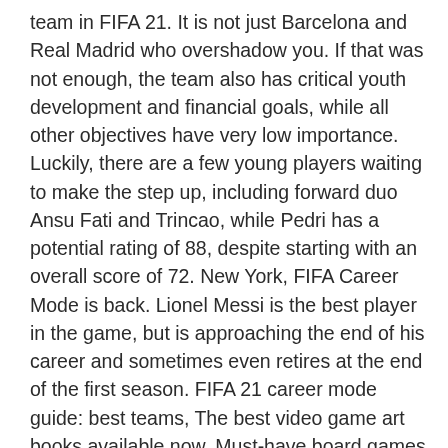team in FIFA 21. It is not just Barcelona and Real Madrid who overshadow you. If that was not enough, the team also has critical youth development and financial goals, while all other objectives have very low importance. Luckily, there are a few young players waiting to make the step up, including forward duo Ansu Fati and Trincao, while Pedri has a potential rating of 88, despite starting with an overall score of 72. New York, FIFA Career Mode is back. Lionel Messi is the best player in the game, but is approaching the end of his career and sometimes even retires at the end of the first season. FIFA 21 career mode guide: best teams, The best video game art books available now, Must-have board games for families in 2020. At the start of the game, they have two of the best young defenders in FIFA 21 Career Mode in Nuno Tavares and Tomas Tavares. Change FIFA Year . Winning the Eredivisie should be easy with their squad, but winning the Champions League is the real challenge. FIFA 21 - 10 december 2020. While some Fifa players love making the